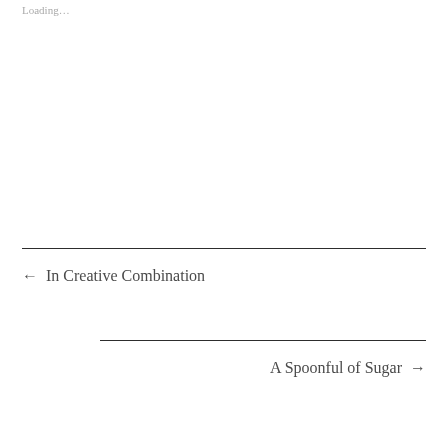Loading…
← In Creative Combination
A Spoonful of Sugar →